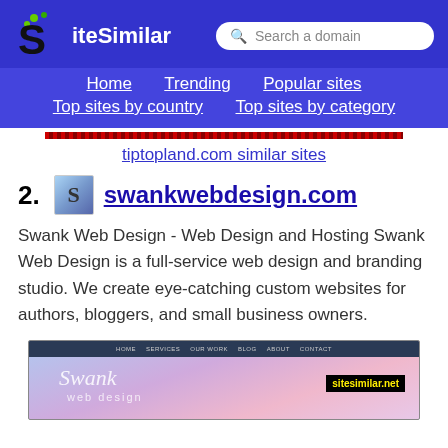SiteSimilar - Search a domain
Home  Trending  Popular sites  Top sites by country  Top sites by category
tiptopland.com similar sites
2. swankwebdesign.com - Swank Web Design - Web Design and Hosting Swank Web Design is a full-service web design and branding studio. We create eye-catching custom websites for authors, bloggers, and small business owners.
[Figure (screenshot): Screenshot of swankwebdesign.com showing navigation bar with HOME, SERVICES, OUR WORK, BLOG, ABOUT, CONTACT links, and the Swank web design logo with colorful background. Sitesimilar.net badge overlaid.]